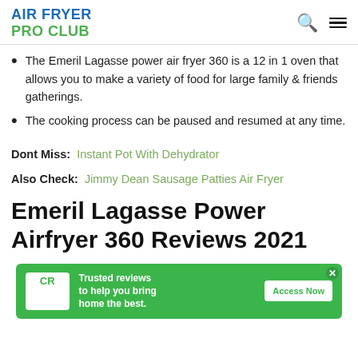AIR FRYER PRO CLUB
The Emeril Lagasse power air fryer 360 is a 12 in 1 oven that allows you to make a variety of food for large family & friends gatherings.
The cooking process can be paused and resumed at any time.
Dont Miss:  Instant Pot With Dehydrator
Also Check:  Jimmy Dean Sausage Patties Air Fryer
Emeril Lagasse Power Airfryer 360 Reviews 2021
[Figure (infographic): Consumer Reports advertisement banner with green background. CR logo on left, text 'Trusted reviews to help you bring home the best.' with 'Access Now' button on right, and X close icon.]